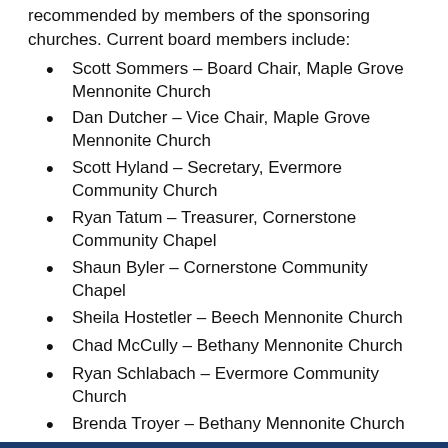recommended by members of the sponsoring churches. Current board members include:
Scott Sommers – Board Chair, Maple Grove Mennonite Church
Dan Dutcher – Vice Chair, Maple Grove Mennonite Church
Scott Hyland – Secretary, Evermore Community Church
Ryan Tatum – Treasurer, Cornerstone Community Chapel
Shaun Byler – Cornerstone Community Chapel
Sheila Hostetler – Beech Mennonite Church
Chad McCully – Bethany Mennonite Church
Ryan Schlabach – Evermore Community Church
Brenda Troyer – Bethany Mennonite Church